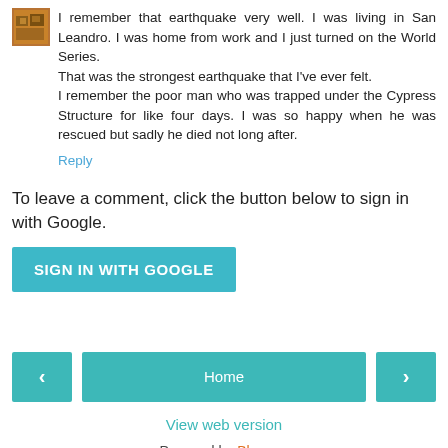I remember that earthquake very well. I was living in San Leandro. I was home from work and I just turned on the World Series.
That was the strongest earthquake that I've ever felt.
I remember the poor man who was trapped under the Cypress Structure for like four days. I was so happy when he was rescued but sadly he died not long after.
Reply
To leave a comment, click the button below to sign in with Google.
SIGN IN WITH GOOGLE
‹
Home
›
View web version
Powered by Blogger.